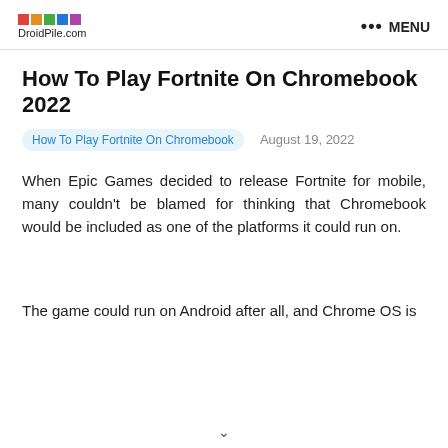DroidPile.com  ••• MENU
How To Play Fortnite On Chromebook 2022
How To Play Fortnite On Chromebook   August 19, 2022
When Epic Games decided to release Fortnite for mobile, many couldn't be blamed for thinking that Chromebook would be included as one of the platforms it could run on.
The game could run on Android after all, and Chrome OS is